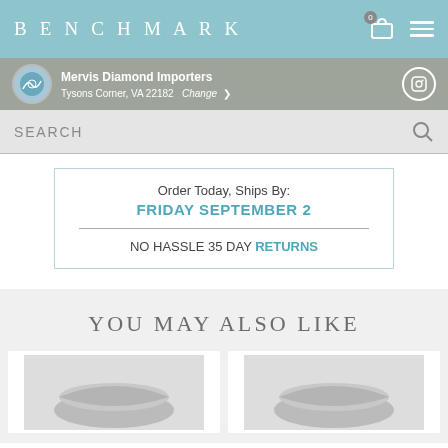BENCHMARK
Mervis Diamond Importers
Tysons Corner, VA 22182   Change
SEARCH
Order Today, Ships By:
FRIDAY SEPTEMBER 2
NO HASSLE 35 day RETURNS
YOU MAY ALSO LIKE
[Figure (photo): Two product ring photos shown side by side at bottom of page]